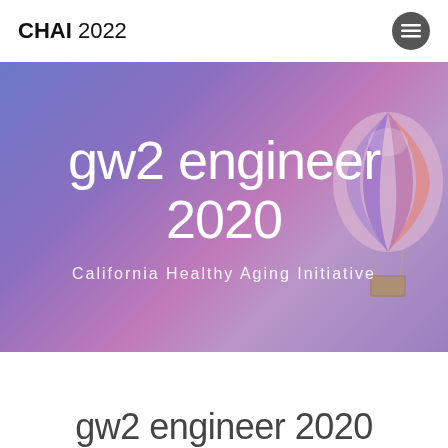CHAI 2022
[Figure (illustration): Hero banner with purple/blue gradient background and a hot air balloon illustration on the right side]
gw2 engineer 2020
California Healthy Aging Initiative
gw2 engineer 2020